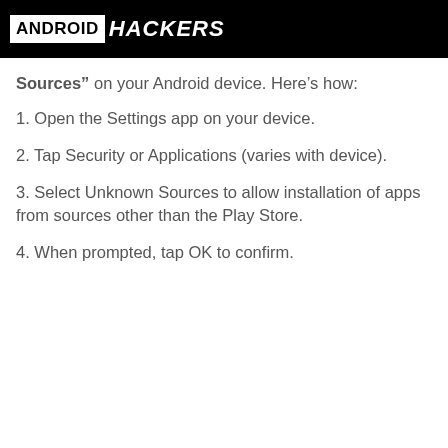ANDROID HACKERS
Sources” on your Android device. Here’s how:
1. Open the Settings app on your device.
2. Tap Security or Applications (varies with device).
3. Select Unknown Sources to allow installation of apps from sources other than the Play Store.
4. When prompted, tap OK to confirm.